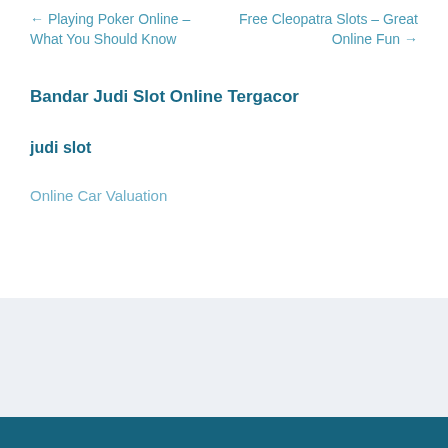← Playing Poker Online – What You Should Know
Free Cleopatra Slots – Great Online Fun →
Bandar Judi Slot Online Tergacor
judi slot
Online Car Valuation
Theme by Out the Box